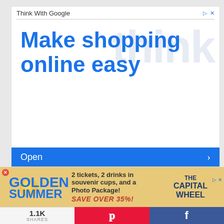Think With Google
[Figure (screenshot): Google 'Think With Google' advertisement banner with text 'Make shopping online easy' in blue on white background with watermark 'think' and an 'Open' button bar in blue]
[Figure (screenshot): Golden Summer promotional banner for The Capital Wheel with text '2 tickets, 2 drinks in souvenir cups, and a Photo Package! SAVE OVER 35%!']
1.1K SHARES